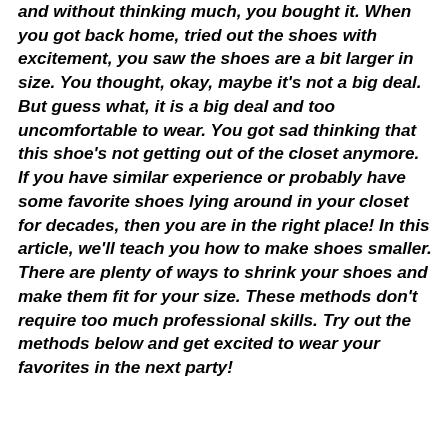and without thinking much, you bought it. When you got back home, tried out the shoes with excitement, you saw the shoes are a bit larger in size. You thought, okay, maybe it's not a big deal. But guess what, it is a big deal and too uncomfortable to wear. You got sad thinking that this shoe's not getting out of the closet anymore. If you have similar experience or probably have some favorite shoes lying around in your closet for decades, then you are in the right place! In this article, we'll teach you how to make shoes smaller. There are plenty of ways to shrink your shoes and make them fit for your size. These methods don't require too much professional skills. Try out the methods below and get excited to wear your favorites in the next party!